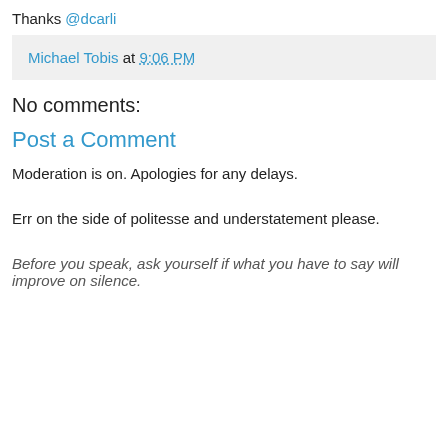Thanks @dcarli
Michael Tobis at 9:06 PM
No comments:
Post a Comment
Moderation is on. Apologies for any delays.
Err on the side of politesse and understatement please.
Before you speak, ask yourself if what you have to say will improve on silence.